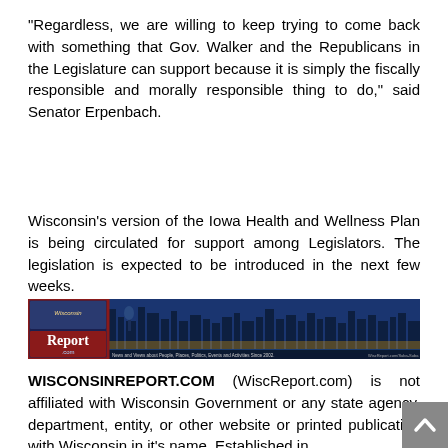“Regardless, we are willing to keep trying to come back with something that Gov. Walker and the Republicans in the Legislature can support because it is simply the fiscally responsible and morally responsible thing to do,” said Senator Erpenbach.
Wisconsin’s version of the Iowa Health and Wellness Plan is being circulated for support among Legislators. The legislation is expected to be introduced in the next few weeks.
[Figure (logo): WisconsinReport.com banner with city skyline at night showing city lights, with the Wisconsin Report logo on the left and a tagline reading 'News and Views about People, Places, Politics, Events and Activities Since 2002.']
WISCONSINREPORT.COM (WiscReport.com) is not affiliated with Wisconsin Government or any state agency, department, entity, or other website or printed publication with Wisconsin in it’s name. Established in